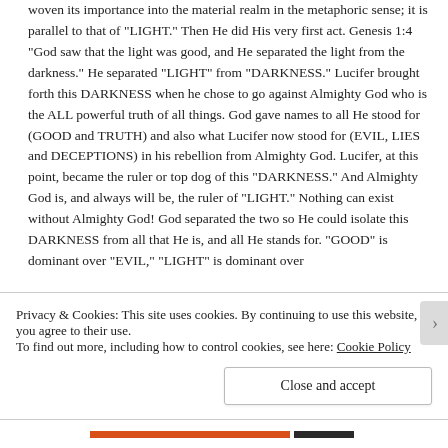woven its importance into the material realm in the metaphoric sense; it is parallel to that of "LIGHT." Then He did His very first act. Genesis 1:4 "God saw that the light was good, and He separated the light from the darkness." He separated "LIGHT" from "DARKNESS." Lucifer brought forth this DARKNESS when he chose to go against Almighty God who is the ALL powerful truth of all things. God gave names to all He stood for (GOOD and TRUTH) and also what Lucifer now stood for (EVIL, LIES and DECEPTIONS) in his rebellion from Almighty God. Lucifer, at this point, became the ruler or top dog of this "DARKNESS." And Almighty God is, and always will be, the ruler of "LIGHT." Nothing can exist without Almighty God! God separated the two so He could isolate this DARKNESS from all that He is, and all He stands for. "GOOD" is dominant over "EVIL," "LIGHT" is dominant over
Privacy & Cookies: This site uses cookies. By continuing to use this website, you agree to their use.
To find out more, including how to control cookies, see here: Cookie Policy
Close and accept